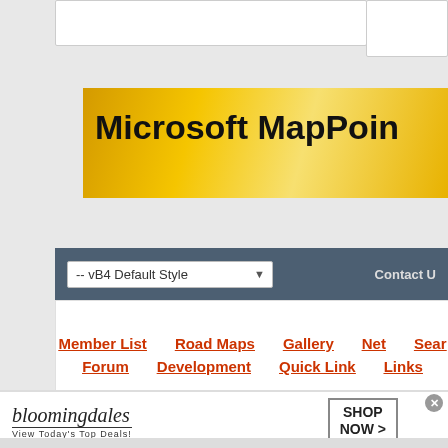[Figure (screenshot): Partial top white box with browser UI element visible at top of page]
[Figure (screenshot): Microsoft MapPoint banner - golden/yellow gradient background with bold black text 'Microsoft MapPoin...' (truncated)]
[Figure (screenshot): Navigation bar with dark blue-gray background containing a dropdown '-- vB4 Default Style' and 'Contact U' text link on right]
[Figure (screenshot): White navigation links area with orange/red underlined links: Member List, Road Maps, Gallery, Net, Sear... on first row; Forum, Development, Quick Link, Links on second row]
All times are GMT -5. The time now is 09:4
Powered by vBulletin® Version 4.2.2
Copyright © 2022 vBulletin Solutions, Inc. All rig
Search Engine Friendly URLs by vBSEO
[Figure (screenshot): infolinks badge - navy blue pointed badge with white italic text 'infolinks']
[Figure (screenshot): Bloomingdales advertisement banner: logo text 'bloomingdales', tagline 'View Today's Top Deals!', woman in hat image, 'SHOP NOW >' button. Close X button in top right corner.]
[Figure (screenshot): Gray bottom strip]